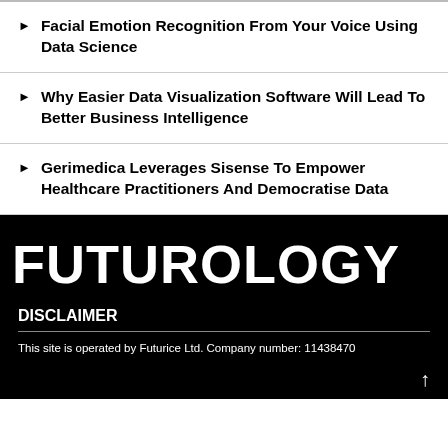Facial Emotion Recognition From Your Voice Using Data Science
Why Easier Data Visualization Software Will Lead To Better Business Intelligence
Gerimedica Leverages Sisense To Empower Healthcare Practitioners And Democratise Data
[Figure (logo): FUTUROLOGY logo in large bold white text on black background]
DISCLAIMER
This site is operated by Futurice Ltd. Company number: 11438470